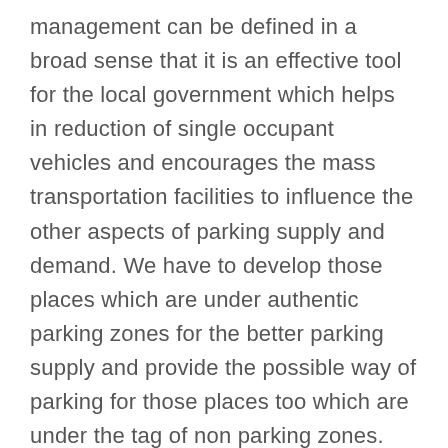management can be defined in a broad sense that it is an effective tool for the local government which helps in reduction of single occupant vehicles and encourages the mass transportation facilities to influence the other aspects of parking supply and demand. We have to develop those places which are under authentic parking zones for the better parking supply and provide the possible way of parking for those places too which are under the tag of non parking zones. Cities of hill states are worst-affected, where parking spaces are woefully falling short of the current requirements. During season they are witness long snarls which can be partially attributed to haphazard parking of vehicles on roads.